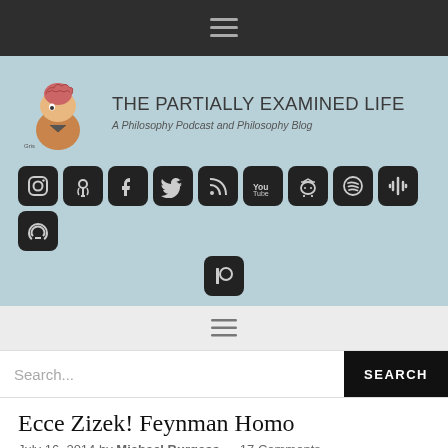☰
THE PARTIALLY EXAMINED LIFE
A Philosophy Podcast and Philosophy Blog
[Figure (logo): Cartoon illustration of a man with exposed brain, logo for The Partially Examined Life]
[Figure (infographic): Social media icons: Instagram, Podcast, Facebook, Twitter, RSS, YouTube, Android, Spotify, Google Podcasts, Audible, Patreon]
☰
Search...
Ecce Zizek! Feynman Homo
July 16, 2014 by Michael Burgess — 17 Comments
In the